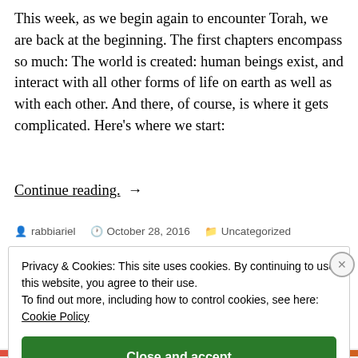This week, as we begin again to encounter Torah, we are back at the beginning. The first chapters encompass so much: The world is created: human beings exist, and interact with all other forms of life on earth as well as with each other. And there, of course, is where it gets complicated. Here's where we start:
Continue reading. →
rabbiariel   October 28, 2016   Uncategorized
Privacy & Cookies: This site uses cookies. By continuing to use this website, you agree to their use. To find out more, including how to control cookies, see here: Cookie Policy
Close and accept